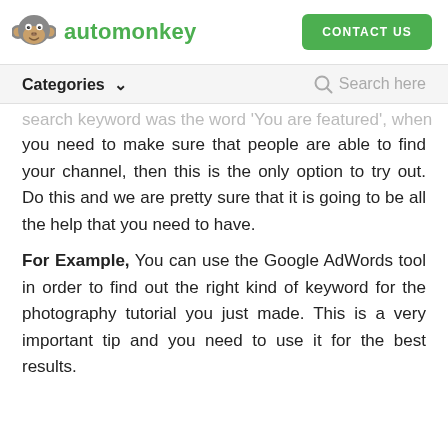automonkey | CONTACT US
Categories ∨    Search here
search keyword was the word 'You are featured', when you need to make sure that people are able to find your channel, then this is the only option to try out. Do this and we are pretty sure that it is going to be all the help that you need to have.
For Example, You can use the Google AdWords tool in order to find out the right kind of keyword for the photography tutorial you just made. This is a very important tip and you need to use it for the best results.